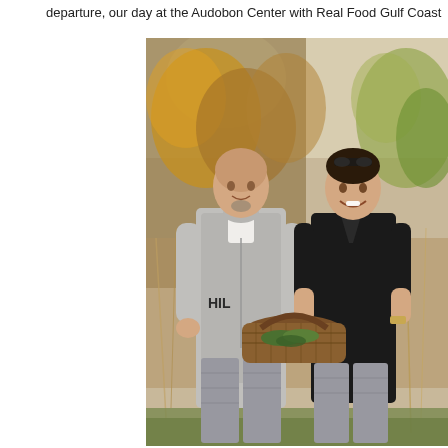departure, our day at the Audobon Center with Real Food Gulf Coast
[Figure (photo): Two people standing outdoors in a natural setting with autumn foliage in the background. A man on the left wearing a gray Hilfiger hoodie and plaid pants, and a woman on the right wearing a black v-neck top and plaid pants. They are together holding a woven basket containing green leaves.]